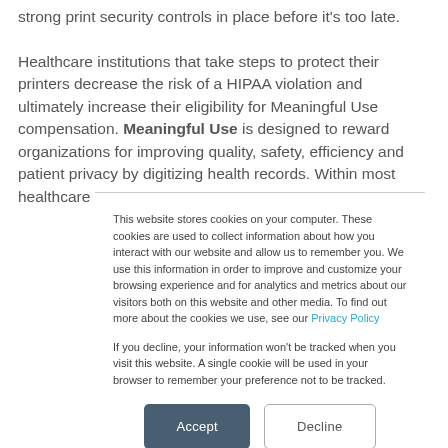strong print security controls in place before it's too late. Healthcare institutions that take steps to protect their printers decrease the risk of a HIPAA violation and ultimately increase their eligibility for Meaningful Use compensation. Meaningful Use is designed to reward organizations for improving quality, safety, efficiency and patient privacy by digitizing health records. Within most healthcare
This website stores cookies on your computer. These cookies are used to collect information about how you interact with our website and allow us to remember you. We use this information in order to improve and customize your browsing experience and for analytics and metrics about our visitors both on this website and other media. To find out more about the cookies we use, see our Privacy Policy

If you decline, your information won't be tracked when you visit this website. A single cookie will be used in your browser to remember your preference not to be tracked.